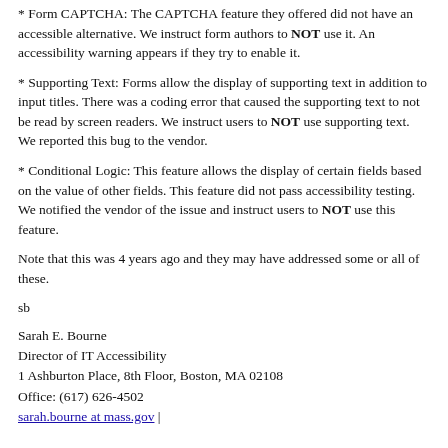* Form CAPTCHA: The CAPTCHA feature they offered did not have an accessible alternative. We instruct form authors to NOT use it. An accessibility warning appears if they try to enable it.
* Supporting Text: Forms allow the display of supporting text in addition to input titles. There was a coding error that caused the supporting text to not be read by screen readers. We instruct users to NOT use supporting text. We reported this bug to the vendor.
* Conditional Logic: This feature allows the display of certain fields based on the value of other fields. This feature did not pass accessibility testing. We notified the vendor of the issue and instruct users to NOT use this feature.
Note that this was 4 years ago and they may have addressed some or all of these.
sb
Sarah E. Bourne
Director of IT Accessibility
1 Ashburton Place, 8th Floor, Boston, MA 02108
Office: (617) 626-4502
sarah.bourne at mass.gov |